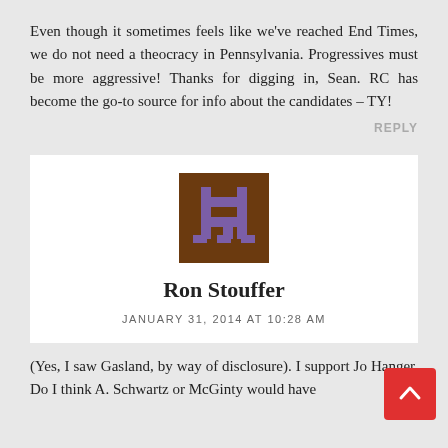Even though it sometimes feels like we've reached End Times, we do not need a theocracy in Pennsylvania. Progressives must be more aggressive! Thanks for digging in, Sean. RC has become the go-to source for info about the candidates – TY!
REPLY
[Figure (illustration): Avatar icon: brown square background with a pixelated purple monster/creature icon in the center]
Ron Stouffer
JANUARY 31, 2014 AT 10:28 AM
(Yes, I saw Gasland, by way of disclosure). I support Jo Hanger. Do I think A. Schwartz or McGinty would have